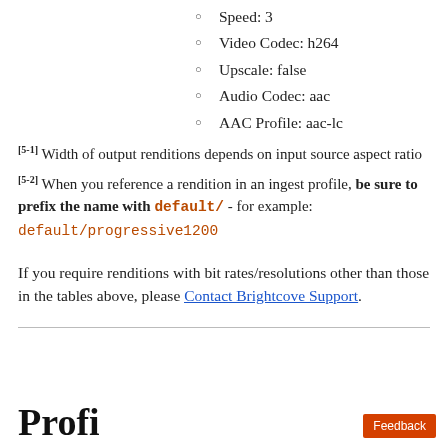Speed: 3
Video Codec: h264
Upscale: false
Audio Codec: aac
AAC Profile: aac-lc
[5-1] Width of output renditions depends on input source aspect ratio
[5-2] When you reference a rendition in an ingest profile, be sure to prefix the name with default/ - for example: default/progressive1200
If you require renditions with bit rates/resolutions other than those in the tables above, please Contact Brightcove Support.
Profi...